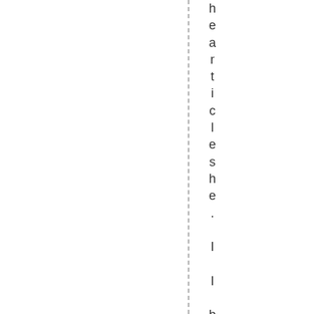hearticleshe. I I be working on next